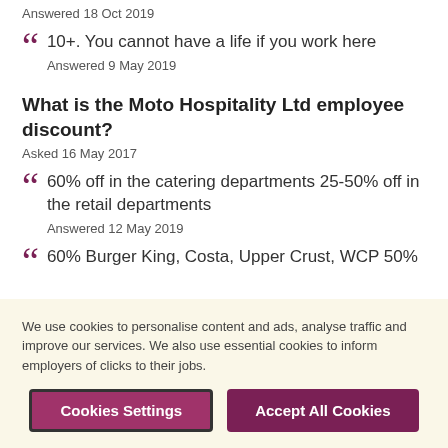Answered 18 Oct 2019
10+. You cannot have a life if you work here
Answered 9 May 2019
What is the Moto Hospitality Ltd employee discount?
Asked 16 May 2017
60% off in the catering departments 25-50% off in the retail departments
Answered 12 May 2019
60% Burger King, Costa, Upper Crust, WCP 50%
We use cookies to personalise content and ads, analyse traffic and improve our services. We also use essential cookies to inform employers of clicks to their jobs.
Cookies Settings
Accept All Cookies